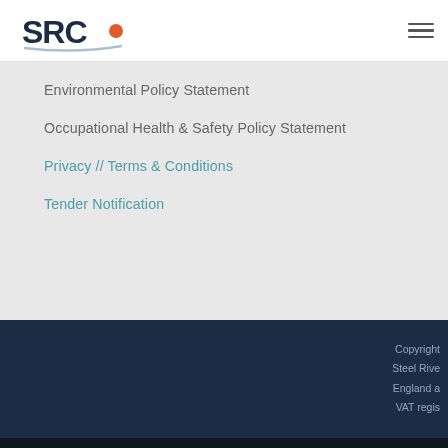[Figure (logo): SRC logo with orange dot]
Environmental Policy Statement
Occupational Health & Safety Policy Statement
Privacy // Terms & Conditions
Tender Notification
Copyright
Steel Rive
England a
VAT regis